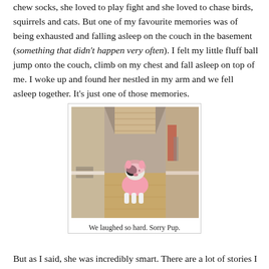chew socks, she loved to play fight and she loved to chase birds, squirrels and cats. But one of my favourite memories was of being exhausted and falling asleep on the couch in the basement (something that didn't happen very often). I felt my little fluff ball jump onto the couch, climb on my chest and fall asleep on top of me. I woke up and found her nestled in my arm and we fell asleep together. It's just one of those memories.
[Figure (photo): A small black and white dog wearing a pink pig costume standing in a hallway with wood floors and stairs visible in the background.]
We laughed so hard. Sorry Pup.
But as I said, she was incredibly smart. There are a lot of stories I